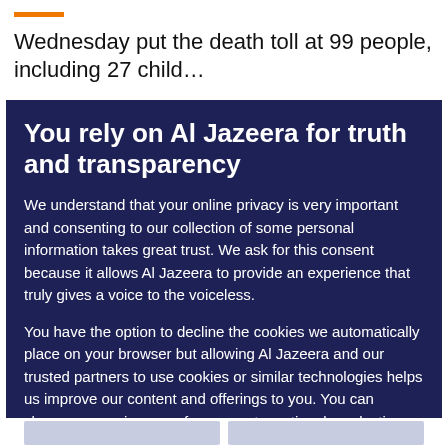Wednesday put the death toll at 99 people, including 27 child…
You rely on Al Jazeera for truth and transparency
We understand that your online privacy is very important and consenting to our collection of some personal information takes great trust. We ask for this consent because it allows Al Jazeera to provide an experience that truly gives a voice to the voiceless.
You have the option to decline the cookies we automatically place on your browser but allowing Al Jazeera and our trusted partners to use cookies or similar technologies helps us improve our content and offerings to you. You can change your privacy preferences at any time by selecting 'Cookie preferences' at the bottom of your screen. To learn more, please view our Cookie Policy.